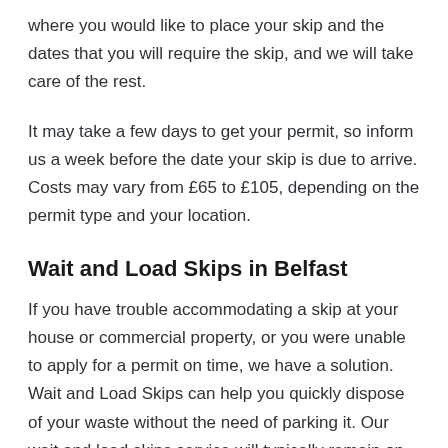where you would like to place your skip and the dates that you will require the skip, and we will take care of the rest.
It may take a few days to get your permit, so inform us a week before the date your skip is due to arrive. Costs may vary from £65 to £105, depending on the permit type and your location.
Wait and Load Skips in Belfast
If you have trouble accommodating a skip at your house or commercial property, or you were unable to apply for a permit on time, we have a solution. Wait and Load Skips can help you quickly dispose of your waste without the need of parking it. Our wait and load skips service will typically remain on-